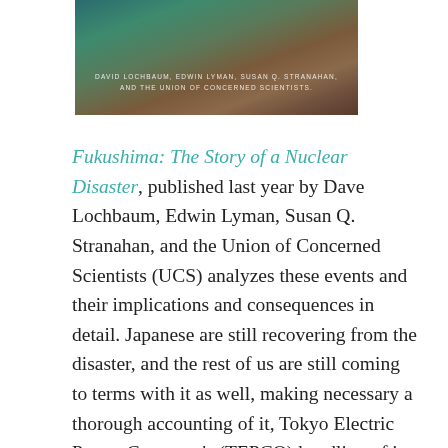[Figure (photo): Book cover image for 'Fukushima: The Story of a Nuclear Disaster' with authors listed at the bottom: David Lochbaum, Edwin Lyman, Susan Q. Stranahan, and the Union of Concerned Scientists.]
Fukushima: The Story of a Nuclear Disaster, published last year by Dave Lochbaum, Edwin Lyman, Susan Q. Stranahan, and the Union of Concerned Scientists (UCS) analyzes these events and their implications and consequences in detail. Japanese are still recovering from the disaster, and the rest of us are still coming to terms with it as well, making necessary a thorough accounting of it, Tokyo Electric Power Company's (TEPCO) handling of it, and the nuclear industry's response. This investigative and well-researched book manages to accomplish that. [Disclosure: I am a member of the UCS Science Network.]